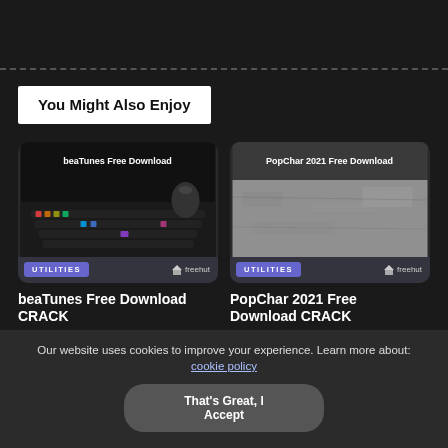You Might Also Enjoy
[Figure (screenshot): beaTunes Free Download card with dark keyboard image and UTILITIES badge]
[Figure (screenshot): PopChar 2021 Free Download card with gray concrete texture and UTILITIES badge]
beaTunes Free Download CRACK
PopChar 2021 Free Download CRACK
Our website uses cookies to improve your experience. Learn more about: cookie policy
That's Great, I Accept